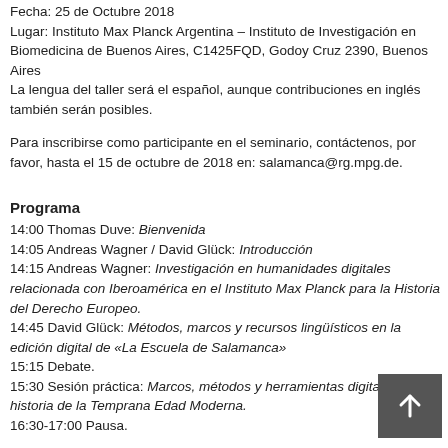Fecha: 25 de Octubre 2018
Lugar: Instituto Max Planck Argentina – Instituto de Investigación en Biomedicina de Buenos Aires, C1425FQD, Godoy Cruz 2390, Buenos Aires
La lengua del taller será el español, aunque contribuciones en inglés también serán posibles.
Para inscribirse como participante en el seminario, contáctenos, por favor, hasta el 15 de octubre de 2018 en: salamanca@rg.mpg.de.
Programa
14:00 Thomas Duve: Bienvenida
14:05 Andreas Wagner / David Glück: Introducción
14:15 Andreas Wagner: Investigación en humanidades digitales relacionada con Iberoamérica en el Instituto Max Planck para la Historia del Derecho Europeo.
14:45 David Glück: Métodos, marcos y recursos lingüísticos en la edición digital de «La Escuela de Salamanca»
15:15 Debate.
15:30 Sesión práctica: Marcos, métodos y herramientas digitales para la historia de la Temprana Edad Moderna.
16:30-17:00 Pausa.